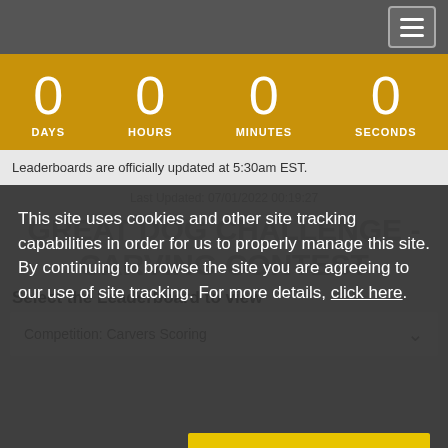Navigation bar with hamburger menu
[Figure (infographic): Countdown timer showing 0 DAYS, 0 HOURS, 0 MINUTES, 0 SECONDS on gold/yellow background]
Leaderboards are officially updated at 5:30am EST.
Last Updated: 07/01/2022 00:19:27
GREAT DOG CHALLENGE - CARVING CONTEST
Select the Leaderboard to view
Competition: Carvers Scoring
This site uses cookies and other site tracking capabilities in order for us to properly manage this site. By continuing to browse the site you are agreeing to our use of site tracking. For more details, click here.
Declines
Agree